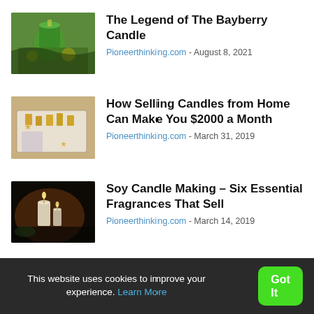[Figure (photo): Green bayberry candle with decorative greenery and yellow ornaments on a natural background]
The Legend of The Bayberry Candle
Pioneerthinking.com - August 8, 2021
[Figure (photo): Yellow beeswax candles in a wooden box with star-shaped candles on a floral surface]
How Selling Candles from Home Can Make You $2000 a Month
Pioneerthinking.com - March 31, 2019
[Figure (photo): Lit white pillar candles with soft bokeh lighting and dark moody background with greenery]
Soy Candle Making – Six Essential Fragrances That Sell
Pioneerthinking.com - March 14, 2019
This website uses cookies to improve your experience. Learn More